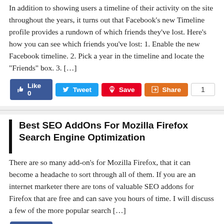In addition to showing users a timeline of their activity on the site throughout the years, it turns out that Facebook's new Timeline profile provides a rundown of which friends they've lost. Here's how you can see which friends you've lost: 1. Enable the new Facebook timeline. 2. Pick a year in the timeline and locate the "Friends" box. 3. […]
Best SEO AddOns For Mozilla Firefox Search Engine Optimization
There are so many add-on's for Mozilla Firefox, that it can become a headache to sort through all of them.  If you are an internet marketer there are tons of valuable SEO addons for Firefox that are free and can save you hours of time.  I will discuss a few of the more popular search […]